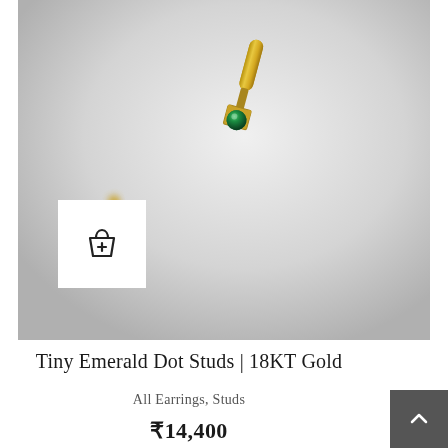[Figure (photo): Two gold earring studs with small emerald green gemstones on a light grey fabric background. One earring is in focus in the upper portion, the other is partially visible in the lower left. A white square add-to-cart button icon is overlaid on the lower left of the image.]
Tiny Emerald Dot Studs | 18KT Gold
All Earrings, Studs
₹14,400